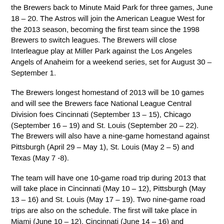the Brewers back to Minute Maid Park for three games, June 18 – 20. The Astros will join the American League West for the 2013 season, becoming the first team since the 1998 Brewers to switch leagues. The Brewers will close Interleague play at Miller Park against the Los Angeles Angels of Anaheim for a weekend series, set for August 30 – September 1.
The Brewers longest homestand of 2013 will be 10 games and will see the Brewers face National League Central Division foes Cincinnati (September 13 – 15), Chicago (September 16 – 19) and St. Louis (September 20 – 22). The Brewers will also have a nine-game homestand against Pittsburgh (April 29 – May 1), St. Louis (May 2 – 5) and Texas (May 7 -8).
The team will have one 10-game road trip during 2013 that will take place in Cincinnati (May 10 – 12), Pittsburgh (May 13 – 16) and St. Louis (May 17 – 19). Two nine-game road trips are also on the schedule. The first will take place in Miami (June 10 – 12), Cincinnati (June 14 – 16) and Houston (June 18 – 20), and the second will take place in San Francisco (August 5 – 8), Seattle (August 9 – 11) and Texas (August 13 – 14).